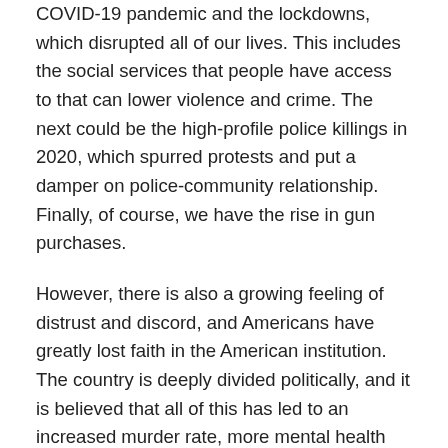COVID-19 pandemic and the lockdowns, which disrupted all of our lives. This includes the social services that people have access to that can lower violence and crime. The next could be the high-profile police killings in 2020, which spurred protests and put a damper on police-community relationship. Finally, of course, we have the rise in gun purchases.
However, there is also a growing feeling of distrust and discord, and Americans have greatly lost faith in the American institution. The country is deeply divided politically, and it is believed that all of this has led to an increased murder rate, more mental health issues, and even problems with more confrontations between strangers.
Americans are Nervous